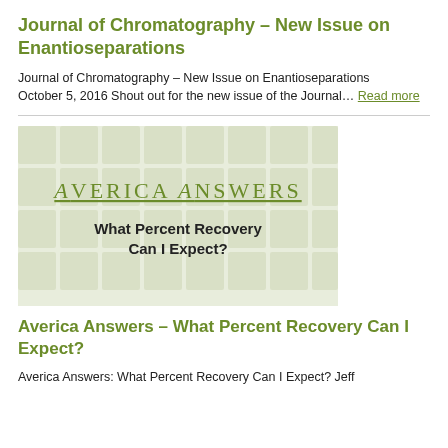Journal of Chromatography – New Issue on Enantioseparations
Journal of Chromatography – New Issue on Enantioseparations October 5, 2016 Shout out for the new issue of the Journal… Read more
[Figure (illustration): Averica Answers logo with text 'What Percent Recovery Can I Expect?' on a light green tiled background]
Averica Answers – What Percent Recovery Can I Expect?
Averica Answers: What Percent Recovery Can I Expect? Jeff